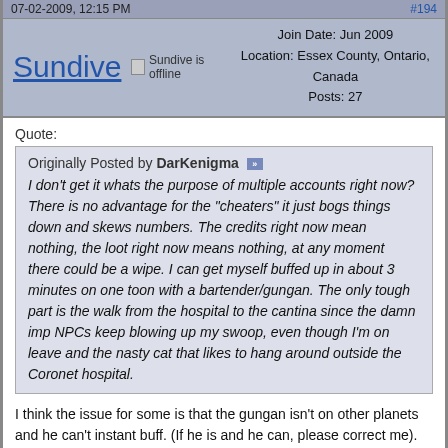07-02-2009, 12:15 PM | #194
Sundive | Sundive is offline | Join Date: Jun 2009 | Location: Essex County, Ontario, Canada | Posts: 27
Quote:
Originally Posted by DarKenigma
I don't get it whats the purpose of multiple accounts right now? There is no advantage for the "cheaters" it just bogs things down and skews numbers. The credits right now mean nothing, the loot right now means nothing, at any moment there could be a wipe. I can get myself buffed up in about 3 minutes on one toon with a bartender/gungan. The only tough part is the walk from the hospital to the cantina since the damn imp NPCs keep blowing up my swoop, even though I'm on leave and the nasty cat that likes to hang around outside the Coronet hospital.
I think the issue for some is that the gungan isn't on other planets and he can't instant buff. (If he is and he can, please correct me). It's only in Theed. So if I want to test the Tusken fort, I have to forget all of my skills, learn doctor, buff, unlearn doctor, relearn pistoleer, bounty hunter, commando, smuggler (This takes about 5 to 25 minutes depending on lag), catch the flight to Tatoonie, do a few runs through the fort, fly back, and repeat the process to rebuff.
And if something goes wrong, like a spice downer at a bad time,